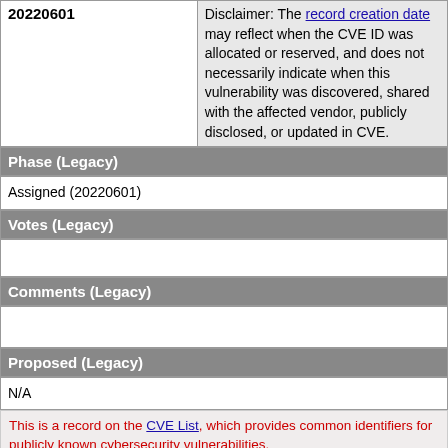| 20220601 | Disclaimer text |
| --- | --- |
| 20220601 | Disclaimer: The record creation date may reflect when the CVE ID was allocated or reserved, and does not necessarily indicate when this vulnerability was discovered, shared with the affected vendor, publicly disclosed, or updated in CVE. |
Phase (Legacy)
Assigned (20220601)
Votes (Legacy)
Comments (Legacy)
Proposed (Legacy)
N/A
This is a record on the CVE List, which provides common identifiers for publicly known cybersecurity vulnerabilities.
SEARCH CVE USING KEYWORDS:
You can also search by reference using the CVE Reference Maps.
For More Information: CVE Request Web Form (select